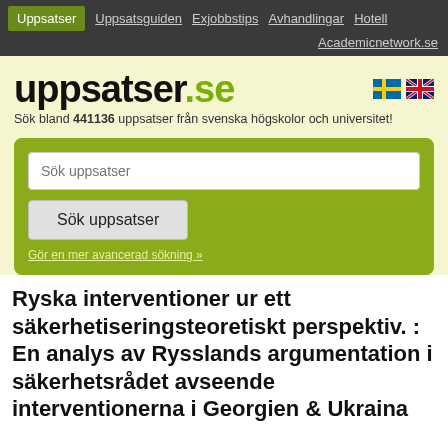Uppsatser | Uppsatsguiden | Exjobbstips | Avhandlingar | Hotell | Academicnetwork.se
uppsatser.se
Sök bland 441136 uppsatser från svenska högskolor och universitet!
Sök uppsatser [input field]
Sök uppsatser [button]
Gör en mer avancerad sökning »
Ryska interventioner ur ett säkerhetiseringsteoretiskt perspektiv. : En analys av Rysslands argumentation i säkerhetsrådet avseende interventionerna i Georgien & Ukraina